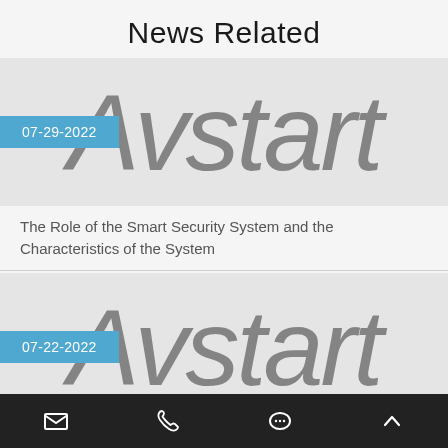News Related
[Figure (logo): Avstart logo displayed large and blurred as background, with blue date badge '07-29-2022' overlaid]
The Role of the Smart Security System and the Characteristics of the System
[Figure (logo): Avstart logo displayed large and blurred as background, with blue date badge '07-22-2022' overlaid]
The Need to Install Home Surveillance Systems
Mail  Phone  Chat  Up